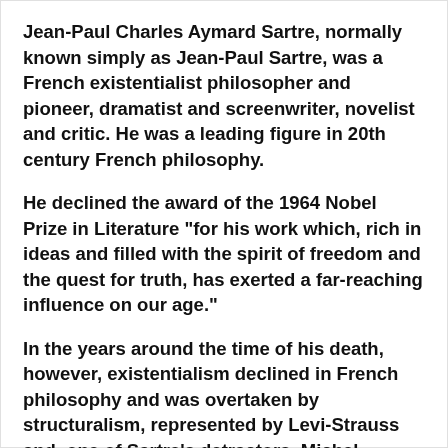Jean-Paul Charles Aymard Sartre, normally known simply as Jean-Paul Sartre, was a French existentialist philosopher and pioneer, dramatist and screenwriter, novelist and critic. He was a leading figure in 20th century French philosophy.
He declined the award of the 1964 Nobel Prize in Literature "for his work which, rich in ideas and filled with the spirit of freedom and the quest for truth, has exerted a far-reaching influence on our age."
In the years around the time of his death, however, existentialism declined in French philosophy and was overtaken by structuralism, represented by Levi-Strauss and, one of Sartre's detractors, Michel Foucault. (from Goodreads)